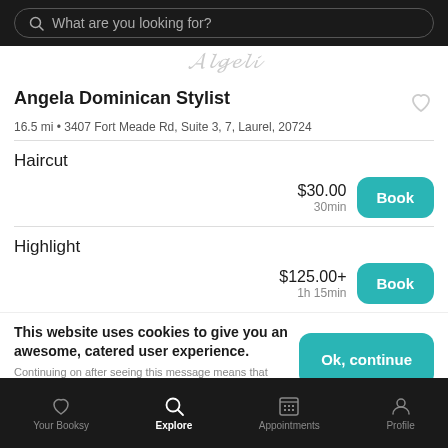What are you looking for?
[Figure (illustration): Cursive script logo/signature in light gray]
Angela Dominican Stylist
16.5 mi • 3407 Fort Meade Rd, Suite 3, 7, Laurel, 20724
Haircut
$30.00
30min
Highlight
$125.00+
1h 15min
This website uses cookies to give you an awesome, catered user experience.
Continuing on after seeing this message means that you're cool with that.
Your Booksy | Explore | Appointments | Profile